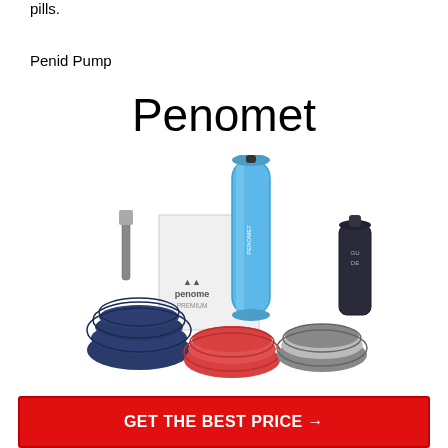pills.
Penid Pump
Penomet
[Figure (photo): Penomet premium penis pump product set including a blue cylindrical pump device, a white product box labeled 'penomet PREMIUM', three different colored silicone comfort pads (navy blue, red/orange, and grey/white striped), a dark spray bottle, and a small brush accessory.]
GET THE BEST PRICE →